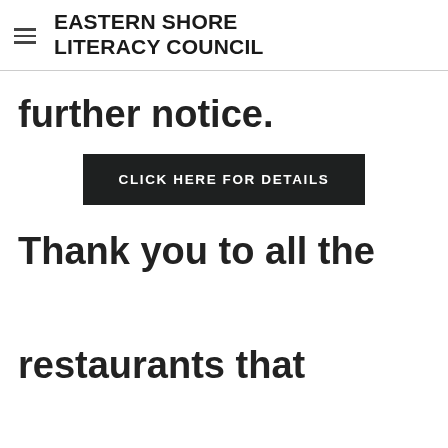EASTERN SHORE LITERACY COUNCIL
further notice.
CLICK HERE FOR DETAILS
Thank you to all the restaurants that supported literacy on the Shore by participating in